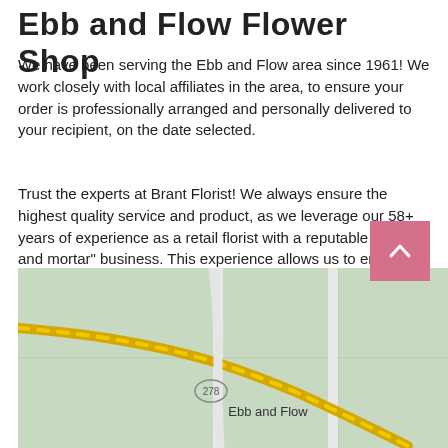Ebb and Flow Flower Shop
We have been serving the Ebb and Flow area since 1961! We work closely with local affiliates in the area, to ensure your order is professionally arranged and personally delivered to your recipient, on the date selected.
Trust the experts at Brant Florist! We always ensure the highest quality service and product, as we leverage our 58+ years of experience as a retail florist with a reputable "brick and mortar" business. This experience allows us to ensure the best service is provided by our local affiliates in Ebb and Flow, Manitoba. 100% Satisfaction Guaranteed!
[Figure (map): A map showing Ebb and Flow, Manitoba with highway 278 and road intersections on a light green background.]